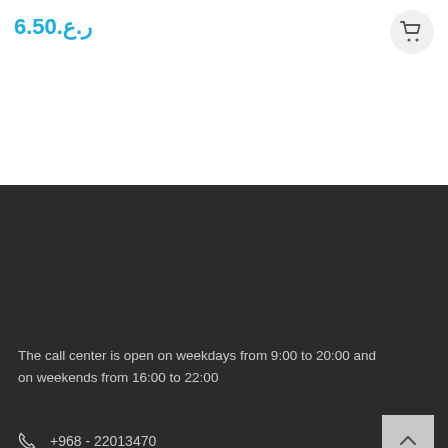ر.ع.6.50
The call center is open on weekdays from 9:00 to 20:00 and on weekends from 16:00 to 22:00
+968 - 22013470
sales@toptecno.om
Add to cart
Shop
Wishlist
Compare
Account